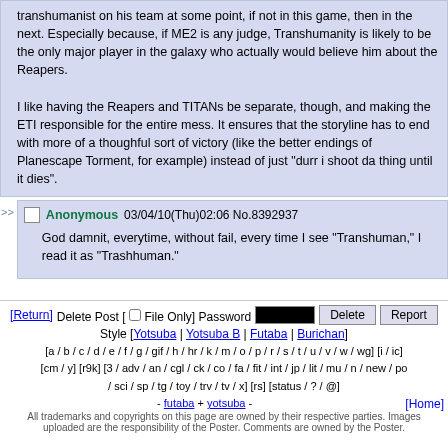transhumanist on his team at some point, if not in this game, then in the next. Especially because, if ME2 is any judge, Transhumanity is likely to be the only major player in the galaxy who actually would believe him about the Reapers.

I like having the Reapers and TITANs be separate, though, and making the ETI responsible for the entire mess. It ensures that the storyline has to end with more of a thoughful sort of victory (like the better endings of Planescape Torment, for example) instead of just "durr i shoot da thing until it dies".
Anonymous 03/04/10(Thu)02:06 No.8392937
God damnit, everytime, without fail, every time I see "Transhuman," I read it as "Trashhuman."
[Return] Delete Post [File Only] Password ········· Delete Report
Style [Yotsuba | Yotsuba B | Futaba | Burichan]
[a / b / c / d / e / f / g / gif / h / hr / k / m / o / p / r / s / t / u / v / w / wg] [i / ic] [cm / y] [r9k] [3 / adv / an / cgl / ck / co / fa / fit / int / jp / lit / mu / n / new / po / sci / sp / tg / toy / trv / tv / x] [rs] [status / ? / @]
- futaba + yotsuba -
All trademarks and copyrights on this page are owned by their respective parties. Images uploaded are the responsibility of the Poster. Comments are owned by the Poster.
[Home]